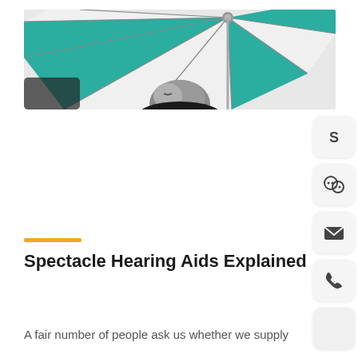[Figure (photo): Photograph taken from below looking up at a green and white umbrella with metal spokes, a person's head with grey hair and glasses visible in the lower-center portion of the image.]
Spectacle Hearing Aids Explained
A fair number of people ask us whether we supply